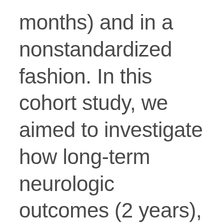months) and in a nonstandardized fashion. In this cohort study, we aimed to investigate how long-term neurologic outcomes (2 years), as defined by the validated modified MNS, are affected by the role of sustained intraoperative electrophysiologic signal